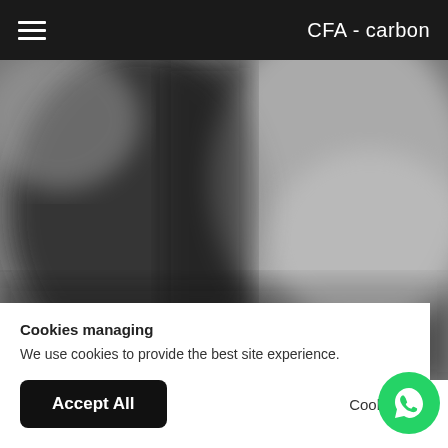CFA - carbon
[Figure (photo): Blurred grayscale background image showing an abstract dark and light composition, resembling a blurred architectural or industrial scene.]
Cookies managing
We use cookies to provide the best site experience.
Accept All
Cookie S